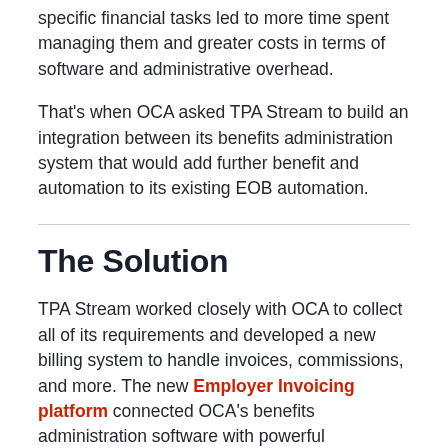specific financial tasks led to more time spent managing them and greater costs in terms of software and administrative overhead.
That's when OCA asked TPA Stream to build an integration between its benefits administration system that would add further benefit and automation to its existing EOB automation.
The Solution
TPA Stream worked closely with OCA to collect all of its requirements and developed a new billing system to handle invoices, commissions, and more. The new Employer Invoicing platform connected OCA's benefits administration software with powerful functionality that now identifies the appropriate fee for certain services and